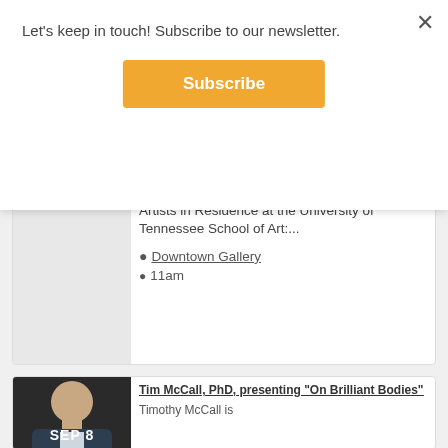Let's keep in touch! Subscribe to our newsletter.
Subscribe
Artists in Residence at the University of Tennessee School of Art:...
Downtown Gallery
11am
Tim McCall, PhD, presenting "On Brilliant Bodies"
Timothy McCall is
SEP 8